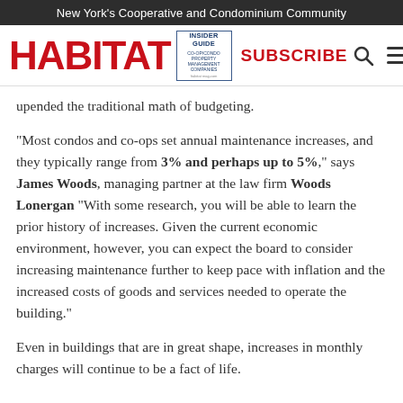New York's Cooperative and Condominium Community
[Figure (logo): Habitat magazine logo with HABITAT in red text, Insider Guide book cover, SUBSCRIBE button in red, search icon, and hamburger menu icon]
upended the traditional math of budgeting.
"Most condos and co-ops set annual maintenance increases, and they typically range from 3% and perhaps up to 5%," says James Woods, managing partner at the law firm Woods Lonergan "With some research, you will be able to learn the prior history of increases. Given the current economic environment, however, you can expect the board to consider increasing maintenance further to keep pace with inflation and the increased costs of goods and services needed to operate the building."
Even in buildings that are in great shape, increases in monthly charges will continue to be a fact of life.